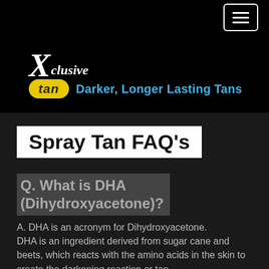[navigation menu button]
[Figure (logo): Xclusive Tan logo with tagline: Darker, Longer Lasting Tans]
Spray Tan FAQ's
Q. What is DHA (Dihydroxyacetone)?
A. DHA is an acronym for Dihydroxyacetone. DHA is an ingredient derived from sugar cane and beets, which reacts with the amino acids in the skin to create the darkening reaction or tan